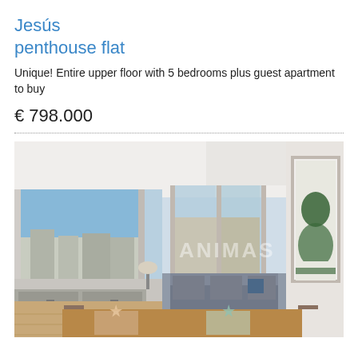Jesús penthouse flat
Unique! Entire upper floor with 5 bedrooms plus guest apartment to buy
€ 798.000
[Figure (photo): Interior of a modern penthouse living room with large floor-to-ceiling sliding glass doors opening to a terrace with a city view. Wooden dining table in foreground, grey sofas, cabinet unit on the left, large artwork on the right wall. ANIMAS watermark visible.]